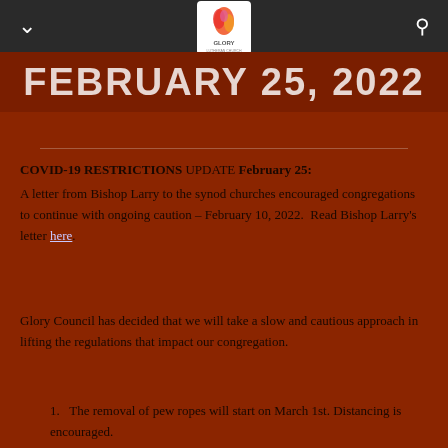Glory Lutheran Church navigation bar
FEBRUARY 25, 2022
COVID-19 RESTRICTIONS UPDATE February 25:
A letter from Bishop Larry to the synod churches encouraged congregations to continue with ongoing caution – February 10, 2022.  Read Bishop Larry's letter here.
Glory Council has decided that we will take a slow and cautious approach in lifting the regulations that impact our congregation.
The removal of pew ropes will start on March 1st. Distancing is encouraged.